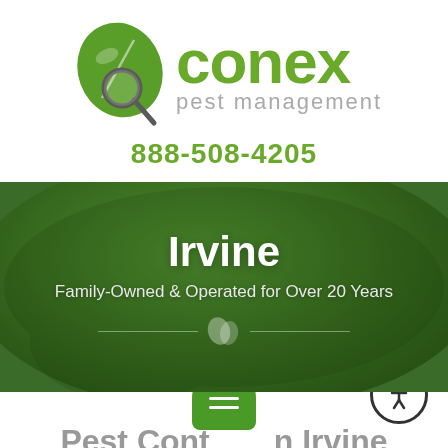[Figure (logo): Econex Pest Management logo with green leaf and magnifying glass icon, company name in green and gray]
888-508-4205
Irvine
Family-Owned & Operated for Over 20 Years
Pest Contr... Irvine